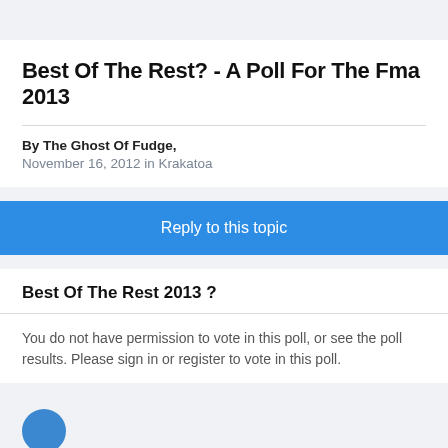Best Of The Rest? - A Poll For The Fma 2013
By The Ghost Of Fudge,
November 16, 2012 in Krakatoa
Reply to this topic
Best Of The Rest 2013 ?
You do not have permission to vote in this poll, or see the poll results. Please sign in or register to vote in this poll.